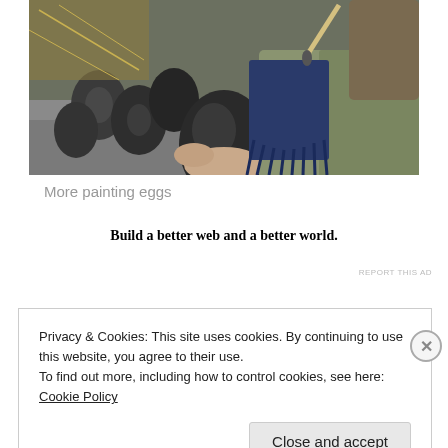[Figure (photo): A person wearing a green sweater and dark blue fringed scarf painting or handling large dark metallic egg-shaped objects on a table outdoors.]
More painting eggs
Build a better web and a better world.
REPORT THIS AD
Privacy & Cookies: This site uses cookies. By continuing to use this website, you agree to their use.
To find out more, including how to control cookies, see here: Cookie Policy
Close and accept